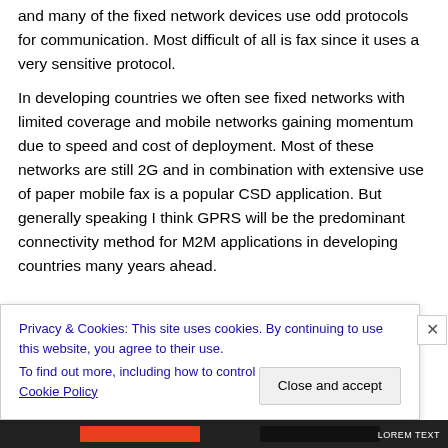and many of the fixed network devices use odd protocols for communication. Most difficult of all is fax since it uses a very sensitive protocol.
In developing countries we often see fixed networks with limited coverage and mobile networks gaining momentum due to speed and cost of deployment. Most of these networks are still 2G and in combination with extensive use of paper mobile fax is a popular CSD application. But generally speaking I think GPRS will be the predominant connectivity method for M2M applications in developing countries many years ahead.
Privacy & Cookies: This site uses cookies. By continuing to use this website, you agree to their use.
To find out more, including how to control cookies, see here: Cookie Policy